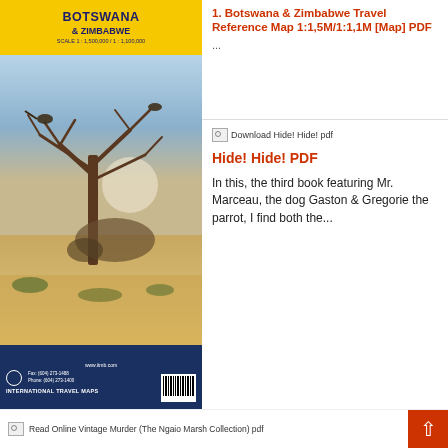[Figure (photo): Book/map cover for Botswana & Zimbabwe International Travel Map, scale 1:1,500,000 / 1:1,100,000, showing a tree and birds in an African savanna landscape, with ITMB publisher details at bottom]
1. Botswana & Zimbabwe Travel Reference Map 1:1,5M/1:1,1M [Map] PDF
...
[Figure (screenshot): Broken image icon for 'Download Hide! Hide! pdf']
Hide! Hide! PDF
In this, the third book featuring Mr. Marceau, the dog Gaston & Gregorie the parrot, I find both the...
Vintage Murder (The Ngaio Marsh Collection) pdf epub
[Figure (screenshot): Broken image icon with text 'Read Online Vintage Murder (The Ngaio Marsh Collection) pdf']